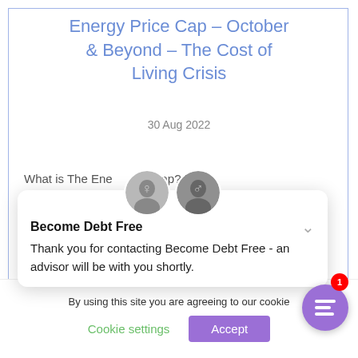Energy Price Cap – October & Beyond – The Cost of Living Crisis
30 Aug 2022
What is The Energy Price Cap? The
[Figure (screenshot): Chat popup overlay from Become Debt Free showing two advisor avatars, bold title 'Become Debt Free', chevron icon, and message: 'Thank you for contacting Become Debt Free - an advisor will be with you shortly.']
By using this site you are agreeing to our cookie
Cookie settings
Accept